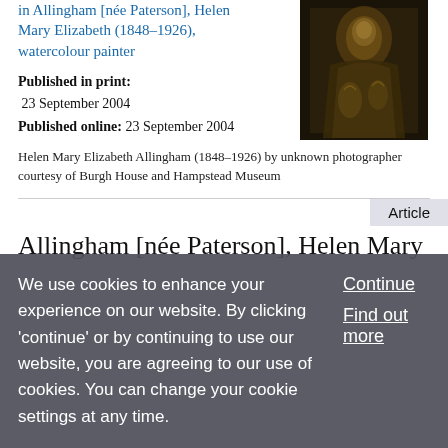in Allingham [née Paterson], Helen Mary Elizabeth (1848–1926), watercolour painter
[Figure (photo): Dark painted or photographic portrait image, dark background with golden-brown tones]
Published in print: 23 September 2004
Published online: 23 September 2004
Helen Mary Elizabeth Allingham (1848–1926) by unknown photographer courtesy of Burgh House and Hampstead Museum
Article
Allingham [née Paterson], Helen Mary
We use cookies to enhance your experience on our website. By clicking 'continue' or by continuing to use our website, you are agreeing to our use of cookies. You can change your cookie settings at any time.
Continue
Find out more